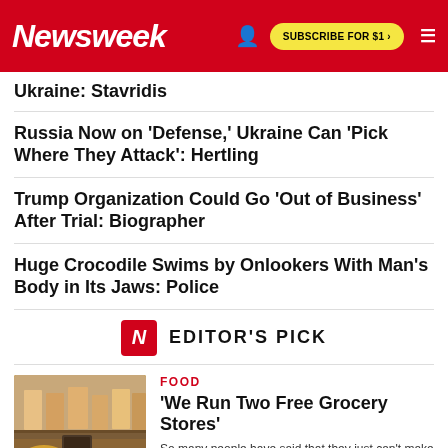Newsweek | SUBSCRIBE FOR $1 >
Ukraine: Stavridis
Russia Now on 'Defense,' Ukraine Can 'Pick Where They Attack': Hertling
Trump Organization Could Go 'Out of Business' After Trial: Biographer
Huge Crocodile Swims by Onlookers With Man's Body in Its Jaws: Police
EDITOR'S PICK
FOOD
'We Run Two Free Grocery Stores'
So many people have said that they just can't make their grocery budget work with the increase in costs.
[Figure (photo): Grocery store interior with products on shelves and a person shopping]